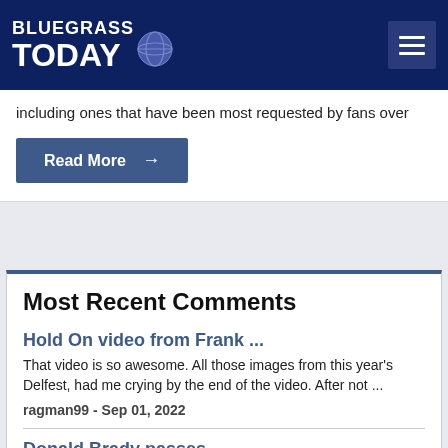Bluegrass Today
including ones that have been most requested by fans over
Read More →
Most Recent Comments
Hold On video from Frank ...
That video is so awesome. All those images from this year's Delfest, had me crying by the end of the video. After not ...
ragman99 - Sep 01, 2022
Donald Brady passes
Salmon Lake, Grapeland, TX, stirs such memories of a wonderful bluegrass festival on Labor Day weekend. The lineup ...